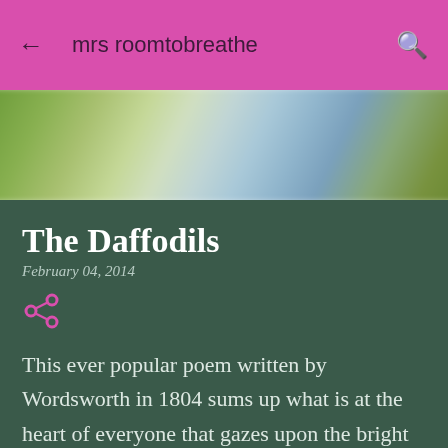mrs roomtobreathe
[Figure (photo): Blurred outdoor nature photo with green and blue tones, likely a garden or field background]
The Daffodils
February 04, 2014
This ever popular poem written by Wordsworth in 1804 sums up what is at the heart of everyone that gazes upon the bright Spring flower that is loved by so many. At this time of the year I enjoy a constant supply of daffodils around the house,